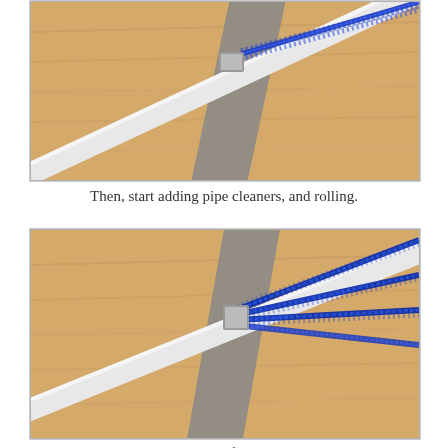[Figure (photo): Close-up photo showing a white cylindrical rod (straw or dowel) crossing over a gray cardboard strip, with blue metallic pipe cleaners attached at the crossing point, on a light wood surface.]
Then, start adding pipe cleaners, and rolling.
[Figure (photo): Close-up photo showing a white cylindrical rod crossing over a gray cardboard strip, with multiple blue metallic pipe cleaners fanned out from the crossing point, on a light wood surface.]
As you roll, add a few more stems.